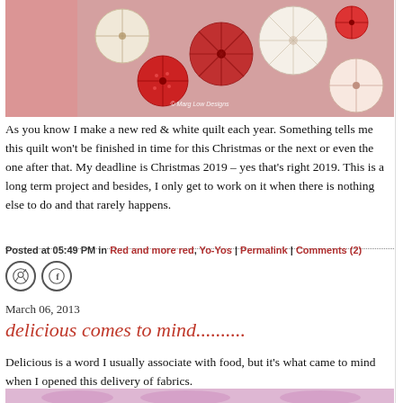[Figure (photo): Close-up photo of red and white fabric yo-yo quilt pieces, with decorative circular gathered fabric rosettes in red, cream, and patterned fabrics. Copyright watermark reads '© Marg Low Designs'.]
As you know I make a new red & white quilt each year. Something tells me this quilt won't be finished in time for this Christmas or the next or even the one after that. My deadline is Christmas 2019 – yes that's right 2019. This is a long term project and besides, I only get to work on it when there is nothing else to do and that rarely happens.
Posted at 05:49 PM in Red and more red, Yo-Yos | Permalink | Comments (2)
March 06, 2013
delicious comes to mind..........
Delicious is a word I usually associate with food, but it's what came to mind when I opened this delivery of fabrics.
[Figure (photo): Bottom portion of a photo showing pink and cream paisley fabric.]